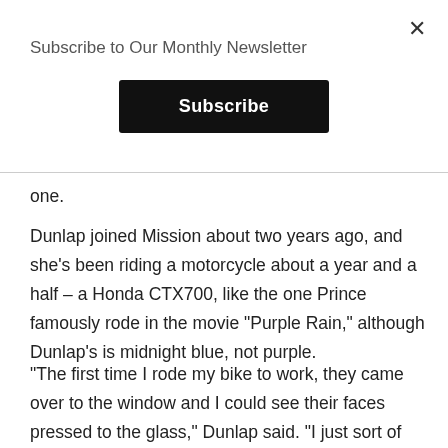×
Subscribe to Our Monthly Newsletter
Subscribe
one.
Dunlap joined Mission about two years ago, and she's been riding a motorcycle about a year and a half – a Honda CTX700, like the one Prince famously rode in the movie "Purple Rain," although Dunlap's is midnight blue, not purple.
"The first time I rode my bike to work, they came over to the window and I could see their faces pressed to the glass," Dunlap said. "I just sort of sauntered in, in all my gear and holding my helmet, and I said, 'If you can't be